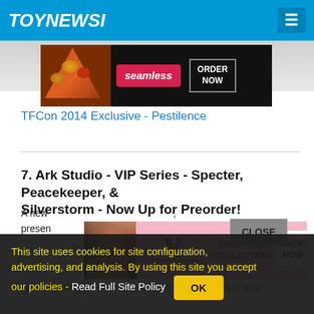TOYNEWSI
[Figure (screenshot): Seamless food delivery advertisement showing pizza and ORDER NOW button]
TFCon 2014 Exclusive - Pestilence
7. Ark Studio - VIP Series - Specter, Peacekeeper, & Silverstorm - Now Up for Preorder!
[Figure (screenshot): Victoria's Secret advertisement with model, logo, SHOP THE COLLECTION, and SHOP NOW button]
A new ... approximately 3" x 1.25" in vehicle mode, and fit in well with Legends/Scout classed figures! These may be a great fit with Generations Metroplex displays as well!! Preorder Special + ToyboxDotCom Giveaway: Look at ThaToysWiz...
This site uses cookies for site configuration, advertising, and analysis. By using this site you accept our policies - Read Full Site Policy
OK